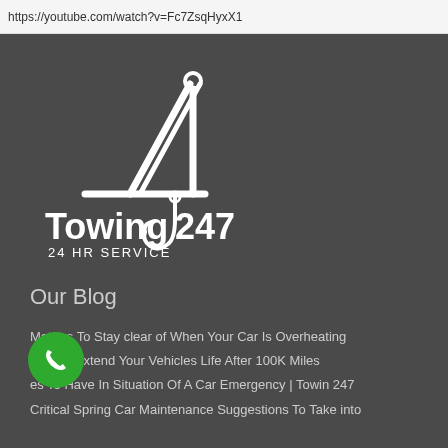https://youtube.com/watch?v=Fc7ZsqHyxX1
[Figure (logo): Towing247 logo with tow truck crane graphic and text 'Towing247 24 HR SERVICE' in white on dark grey background]
Our Blog
Matters To Stay clear of When Your Car Is Overheating
Tips To Extend Your Vehicles Life After 100K Miles
es To Have In Situation Of A Car Emergency | Towin 247
Critical Spring Car Maintenance Suggestions To Take into